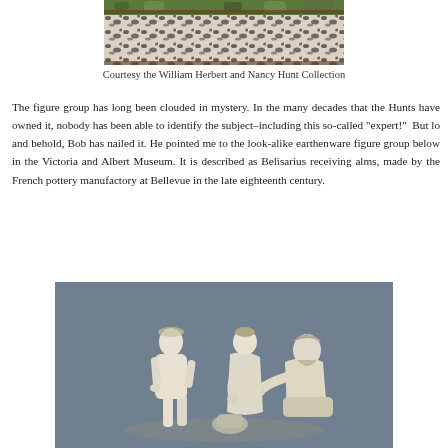[Figure (photo): Bottom portion of a decorative earthenware figure group showing a black and white mottled rectangular base with green and colored figurines above]
Courtesy the William Herbert and Nancy Hunt Collection
The figure group has long been clouded in mystery. In the many decades that the Hunts have owned it, nobody has been able to identify the subject–including this so-called "expert!"  But lo and behold, Bob has nailed it. He pointed me to the look-alike earthenware figure group below in the Victoria and Albert Museum. It is described as Belisarius receiving alms, made by the French pottery manufactory at Bellevue in the late eighteenth century.
[Figure (photo): White/cream colored earthenware figure group showing three classical figures: a standing youth on the left, a seated bearded man on the right, and a woman standing between them, on a gray background]